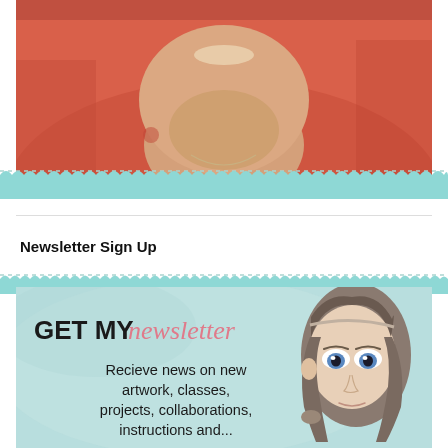[Figure (photo): Close-up photo of a smiling person wearing a coral/salmon colored top, with a necklace visible, cropped at the chin and shoulders area]
[Figure (illustration): Decorative teal scalloped border banner separating the photo from the content below]
Newsletter Sign Up
[Figure (illustration): Newsletter sign-up promotional banner with light teal background showing text 'GET MY newsletter' and 'Recieve news on new artwork, classes, projects, collaborations,' with a hand-drawn illustration of a girl's face with dark hair and blue eyes on the right side]